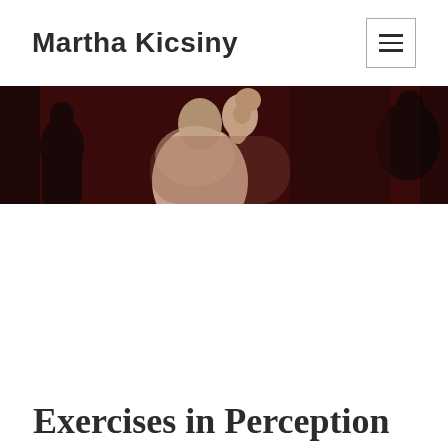Martha Kicsiny
[Figure (photo): Horizontal banner photograph showing figures from behind against a dark reddish-brown background; visible human backs and shoulders in low-key lighting]
Exercises in Perception //